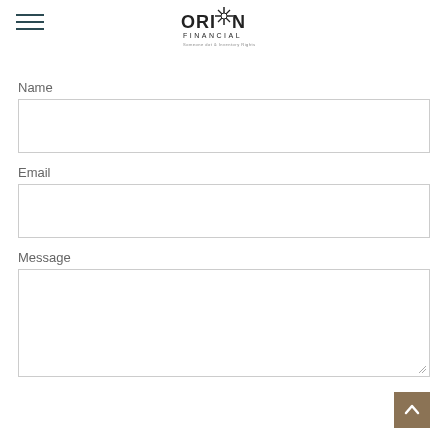[Figure (logo): Orion Financial logo with compass/star icon and tagline]
Name
Email
Message